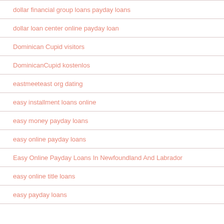dollar financial group loans payday loans
dollar loan center online payday loan
Dominican Cupid visitors
DominicanCupid kostenlos
eastmeeteast org dating
easy installment loans online
easy money payday loans
easy online payday loans
Easy Online Payday Loans In Newfoundland And Labrador
easy online title loans
easy payday loans